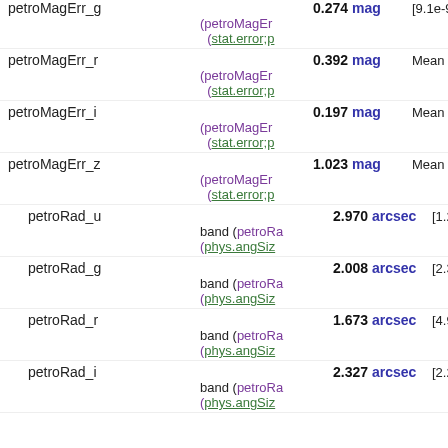| Name | Value | Unit | Description |
| --- | --- | --- | --- |
| petroMagErr_g | 0.274 | mag | [9.1e-9/100] (petroMagErr; (stat.error;ph... |
| petroMagErr_r | 0.392 | mag | Mean error in (petroMagErr; (stat.error;ph... |
| petroMagErr_i | 0.197 | mag | Mean error in (petroMagErr; (stat.error;ph... |
| petroMagErr_z | 1.023 | mag | Mean error in (petroMagErr; (stat.error;ph... |
| petroRad_u | 2.970 | arcsec | [1.2e-6/261] band (petroRa... (phys.angSize... |
| petroRad_g | 2.008 | arcsec | [2.3e-6/261] band (petroRa... (phys.angSize... |
| petroRad_r | 1.673 | arcsec | [4.9e-6/260] band (petroRa... (phys.angSize... |
| petroRad_i | 2.327 | arcsec | [2.2e-6/263] band (petroRa... (phys.angSize... |